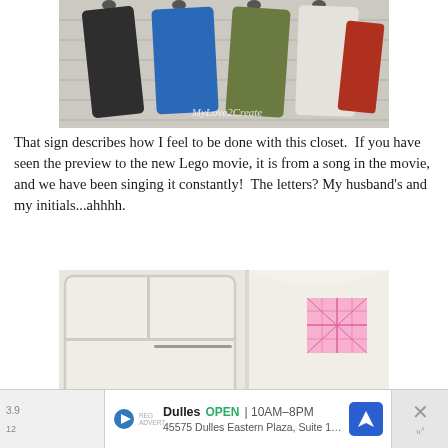[Figure (photo): Photo of coat hooks on a wall with multiple jackets hanging — black coat, blue jacket, olive coat, white garment, red accent. Watermark reads 'MyLove2Create' in cursive.]
That sign describes how I feel to be done with this closet.  If you have seen the preview to the new Lego movie, it is from a song in the movie, and we have been singing it constantly!  The letters? My husband's and my initials...ahhhh.
[Figure (photo): Photo of a white closet shelving system with cubbies, a hanging rail, an orange patterned storage box at the bottom left, and a pink geometric decorative element visible on the right panel.]
[Figure (screenshot): Advertisement bar at the bottom showing: Dulles OPEN 10AM-8PM, 45575 Dulles Eastern Plaza, Suite 171, D, with a blue navigation arrow icon, a close X button, and partial weather-related icons on the sides.]